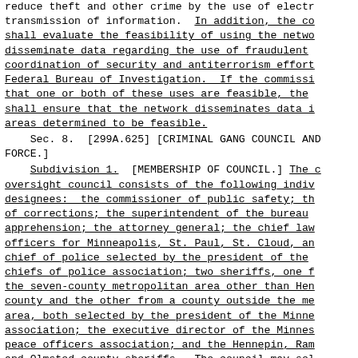reduce theft and other crime by the use of electr transmission of information.  In addition, the co shall evaluate the feasibility of using the netwo disseminate data regarding the use of fraudulent coordination of security and antiterrorism effort Federal Bureau of Investigation.  If the commissi that one or both of these uses are feasible, the shall ensure that the network disseminates data i areas determined to be feasible.
Sec. 8.  [299A.625] [CRIMINAL GANG COUNCIL AND FORCE.]
Subdivision 1.  [MEMBERSHIP OF COUNCIL.] The c oversight council consists of the following indiv designees:  the commissioner of public safety; th of corrections; the superintendent of the bureau apprehension; the attorney general; the chief law officers for Minneapolis, St. Paul, St. Cloud, an chief of police selected by the president of the chiefs of police association; two sheriffs, one f the seven-county metropolitan area other than Hen county and the other from a county outside the me area, both selected by the president of the Minne association; the executive director of the Minnes peace officers association; and the Hennepin, Ram and Olmsted county sheriffs.  The council may sel